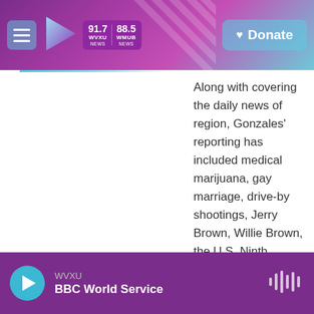91.7 WVXU NEWS | 88.5 WHUB NEWS | Donate
Along with covering the daily news of region, Gonzales' reporting has included medical marijuana, gay marriage, drive-by shootings, Jerry Brown, Willie Brown, the U.S. Ninth Circuit, the California State Supreme Court and any other legal, political, or social development occurring in Northern California relevant to the rest of the country.
See stories by Richard Gonzales
WVXU | BBC World Service